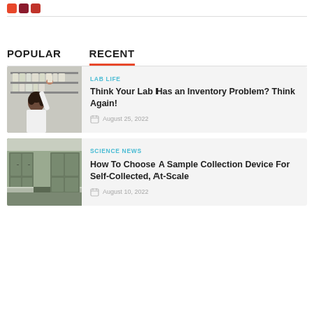Logo icons
POPULAR
RECENT
[Figure (photo): Woman in white lab coat reaching up to grab items from a pharmacy/lab shelf with many labeled containers]
LAB LIFE
Think Your Lab Has an Inventory Problem? Think Again!
August 25, 2022
[Figure (photo): Interior of a lab or clinical room with cabinets and countertops]
SCIENCE NEWS
How To Choose A Sample Collection Device For Self-Collected, At-Scale
August 10, 2022